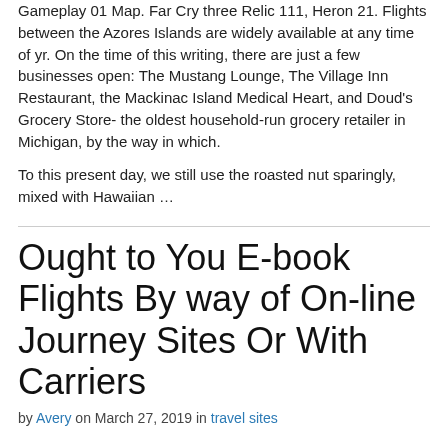Gameplay 01 Map. Far Cry three Relic 111, Heron 21. Flights between the Azores Islands are widely available at any time of yr. On the time of this writing, there are just a few businesses open: The Mustang Lounge, The Village Inn Restaurant, the Mackinac Island Medical Heart, and Doud’s Grocery Store- the oldest household-run grocery retailer in Michigan, by the way in which.
To this present day, we still use the roasted nut sparingly, mixed with Hawaiian …
Ought to You E-book Flights By way of On-line Journey Sites Or With Carriers
by Avery on March 27, 2019 in travel sites